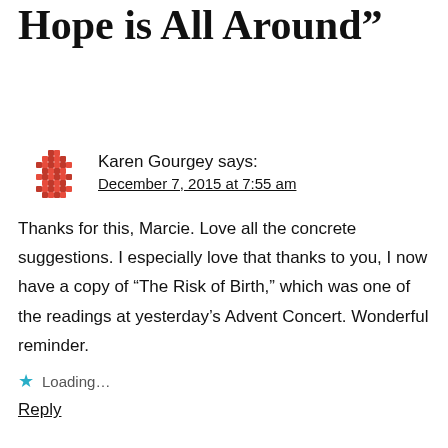Advent: Recognize that Hope is All Around”
Karen Gourgey says:
December 7, 2015 at 7:55 am
Thanks for this, Marcie. Love all the concrete suggestions. I especially love that thanks to you, I now have a copy of “The Risk of Birth,” which was one of the readings at yesterday’s Advent Concert. Wonderful reminder.
Loading…
Reply